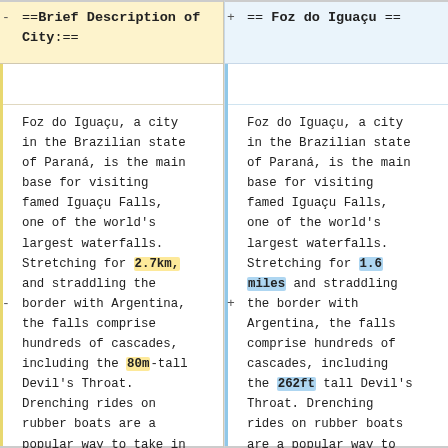==Brief Description of City:==
== Foz do Iguaçu ==
Foz do Iguaçu, a city in the Brazilian state of Paraná, is the main base for visiting famed Iguaçu Falls, one of the world's largest waterfalls. Stretching for 2.7km, and straddling the border with Argentina, the falls comprise hundreds of cascades, including the 80m-tall Devil's Throat. Drenching rides on rubber boats are a popular way to take in
Foz do Iguaçu, a city in the Brazilian state of Paraná, is the main base for visiting famed Iguaçu Falls, one of the world's largest waterfalls. Stretching for 1.6 miles and straddling the border with Argentina, the falls comprise hundreds of cascades, including the 262ft tall Devil's Throat. Drenching rides on rubber boats are a popular way to